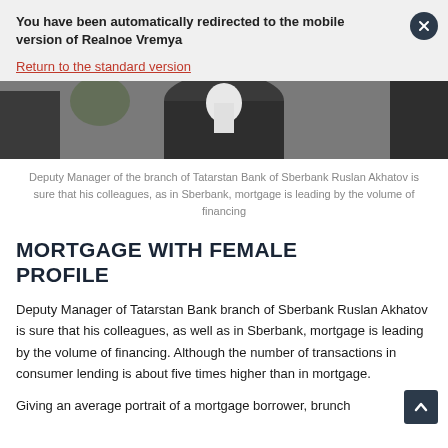You have been automatically redirected to the mobile version of Realnoe Vremya
Return to the standard version
[Figure (photo): Partial photo of a person wearing a dark suit jacket, cropped at shoulder/torso level]
Deputy Manager of the branch of Tatarstan Bank of Sberbank Ruslan Akhatov is sure that his colleagues, as in Sberbank, mortgage is leading by the volume of financing
MORTGAGE WITH FEMALE PROFILE
Deputy Manager of Tatarstan Bank branch of Sberbank Ruslan Akhatov is sure that his colleagues, as well as in Sberbank, mortgage is leading by the volume of financing. Although the number of transactions in consumer lending is about five times higher than in mortgage.
Giving an average portrait of a mortgage borrower, brunch